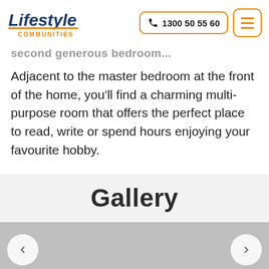Lifestyle Communities | 1300 50 55 60
second generous bedroom...
Adjacent to the master bedroom at the front of the home, you'll find a charming multi-purpose room that offers the perfect place to read, write or spend hours enjoying your favourite hobby.
Gallery
[Figure (photo): Image carousel area with grey placeholder and left/right navigation arrows]